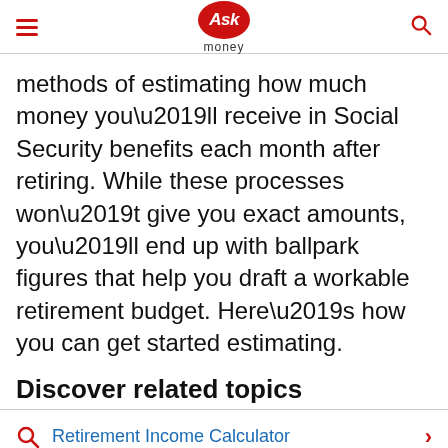Ask money
methods of estimating how much money you’ll receive in Social Security benefits each month after retiring. While these processes won’t give you exact amounts, you’ll end up with ballpark figures that help you draft a workable retirement budget. Here’s how you can get started estimating.
Discover related topics
Retirement Income Calculator
Social Security Retirement Calculator